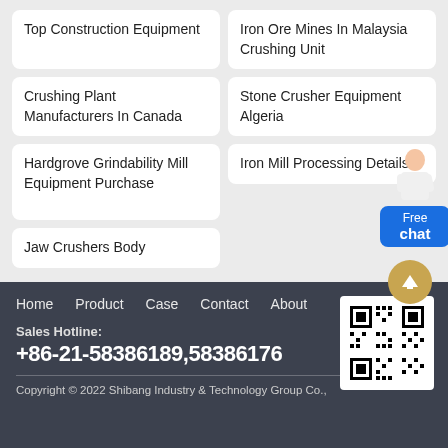Top Construction Equipment
Iron Ore Mines In Malaysia Crushing Unit
Crushing Plant Manufacturers In Canada
Stone Crusher Equipment Algeria
Hardgrove Grindability Mill Equipment Purchase
Iron Mill Processing Details
Jaw Crushers Body
Home   Product   Case   Contact   About
Sales Hotline:
+86-21-58386189,58386176
Copyright © 2022 Shibang Industry & Technology Group Co.,